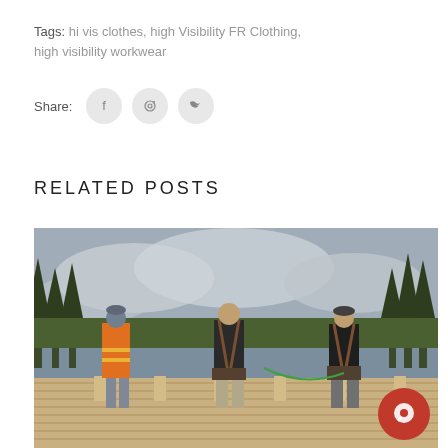Tags:   hi vis clothes, high Visibility FR Clothing, high visibility workwear
Share:
RELATED POSTS
[Figure (photo): Three construction workers standing on a wooden roof frame structure, viewed from behind. One worker on the left wears an orange high visibility jacket. Pine forest and cloudy sky in the background.]